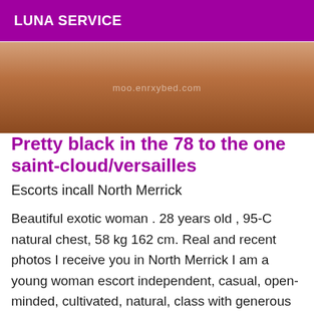LUNA SERVICE
[Figure (photo): Partial photo of a person, cropped, with watermark text 'moo.enrxybed.com']
Pretty black in the 78 to the one saint-cloud/versailles
Escorts incall North Merrick
Beautiful exotic woman . 28 years old , 95-C natural chest, 58 kg 162 cm. Real and recent photos I receive you in North Merrick I am a young woman escort independent, casual, open-minded, cultivated, natural, class with generous forms, glamorous with a firm skin, refined, soft, sensual, elegant, coquettish, a perfect body, a pretty face with an attractive look. Men find me sexy, feminine, with a beautiful camber, skin café au lait and firm. An accompaniment of quality, charm for a moment of relaxation, you will spend in my company a